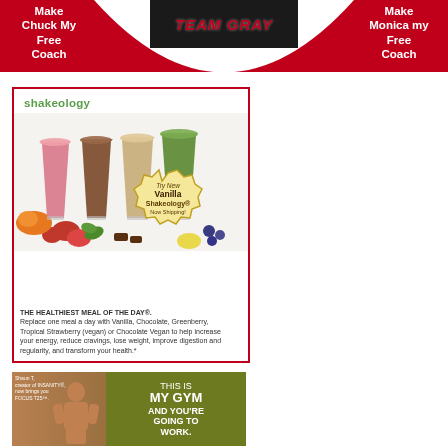[Figure (infographic): Red banner header with 'Make Chuck My Free Coach' on left, Team Gray logo in center, 'Make Monica my Free Coach' on right, large white arch curve below]
Make Chuck My Free Coach
[Figure (logo): Team Gray text logo on dark background]
Make Monica my Free Coach
[Figure (photo): Shakeology advertisement showing four smoothie drinks (pink/strawberry, chocolate, vanilla/tan, green), with fruits and logo. Seal badge: Try New Vanilla Shakeology Now Shipping!]
THE HEALTHIEST MEAL OF THE DAY®. Replace one meal a day with Vanilla, Chocolate, Greenberry, Tropical Strawberry (vegan) or Chocolate Vegan to help increase your energy, reduce cravings, lose weight, improve digestion and regularity, and transform your health.*
[Figure (photo): Focus T25 advertisement with Shaun T muscular man on left, olive/yellow-green background, text: THIS IS MY GYM AND YOU'RE GOING TO WORK.]